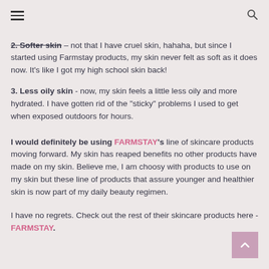≡  [search icon]
2. Softer skin – not that I have cruel skin, hahaha, but since I started using Farmstay products, my skin never felt as soft as it does now. It's like I got my high school skin back!
3. Less oily skin - now, my skin feels a little less oily and more hydrated. I have gotten rid of the "sticky" problems I used to get when exposed outdoors for hours.
I would definitely be using FARMSTAY's line of skincare products moving forward. My skin has reaped benefits no other products have made on my skin. Believe me, I am choosy with products to use on my skin but these line of products that assure younger and healthier skin is now part of my daily beauty regimen.
I have no regrets. Check out the rest of their skincare products here - FARMSTAY.